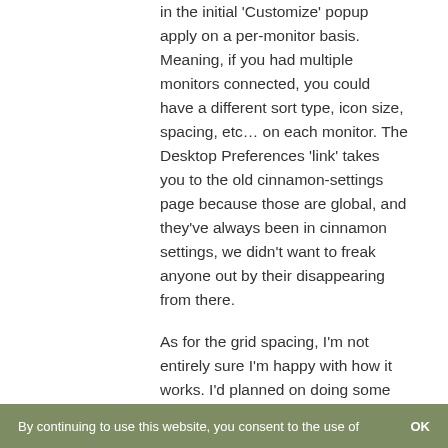in the initial 'Customize' popup apply on a per-monitor basis. Meaning, if you had multiple monitors connected, you could have a different sort type, icon size, spacing, etc… on each monitor. The Desktop Preferences 'link' takes you to the old cinnamon-settings page because those are global, and they've always been in cinnamon settings, we didn't want to freak anyone out by their disappearing from there.
As for the grid spacing, I'm not entirely sure I'm happy with how it works. I'd planned on doing some rework for 4.2 to the desktop to
By continuing to use this website, you consent to the use of   OK